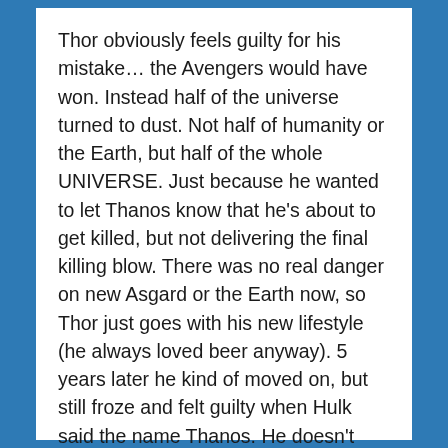Thor obviously feels guilty for his mistake… the Avengers would have won. Instead half of the universe turned to dust. Not half of humanity or the Earth, but half of the whole UNIVERSE. Just because he wanted to let Thanos know that he's about to get killed, but not delivering the final killing blow. There was no real danger on new Asgard or the Earth now, so Thor just goes with his new lifestyle (he always loved beer anyway). 5 years later he kind of moved on, but still froze and felt guilty when Hulk said the name Thanos. He doesn't believe in himself anymore (he later has to check if he's still worthy of Mjolnir), he gets fat, lazy. But he still feels anger towards Thanos